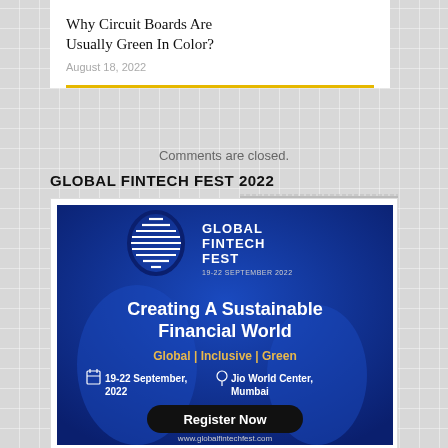Why Circuit Boards Are Usually Green In Color?
August 18, 2022
Comments are closed.
GLOBAL FINTECH FEST 2022
[Figure (illustration): Global Fintech Fest 2022 promotional banner. Dark blue background with globe/lightbulb logo. Text: 'Creating A Sustainable Financial World', 'Global | Inclusive | Green', '19-22 September, 2022', 'Jio World Center, Mumbai', 'Register Now', 'www.globalfintechfest.com'. Dates 19-22 September 2022.]